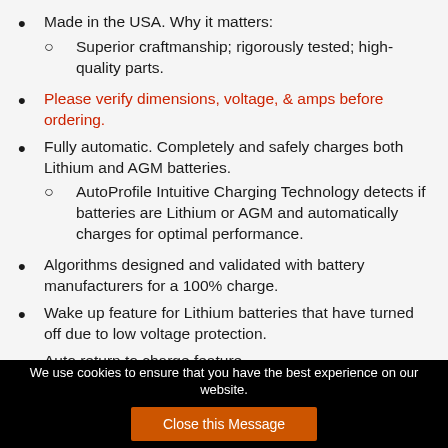Made in the USA. Why it matters:
Superior craftmanship; rigorously tested; high-quality parts.
Please verify dimensions, voltage, & amps before ordering.
Fully automatic. Completely and safely charges both Lithium and AGM batteries.
AutoProfile Intuitive Charging Technology detects if batteries are Lithium or AGM and automatically charges for optimal performance.
Algorithms designed and validated with battery manufacturers for a 100% charge.
Wake up feature for Lithium batteries that have turned off due to low voltage protection.
Auto return to charge feature.
We use cookies to ensure that you have the best experience on our website.